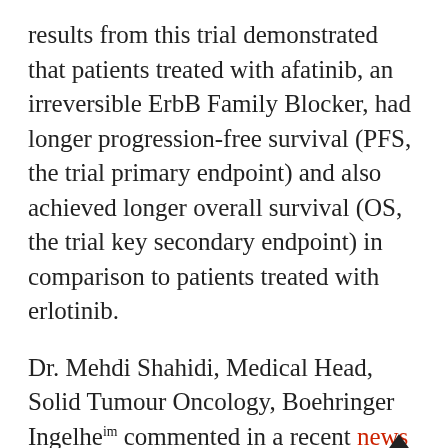results from this trial demonstrated that patients treated with afatinib, an irreversible ErbB Family Blocker, had longer progression-free survival (PFS, the trial primary endpoint) and also achieved longer overall survival (OS, the trial key secondary endpoint) in comparison to patients treated with erlotinib.
Dr. Mehdi Shahidi, Medical Head, Solid Tumour Oncology, Boehringer Ingelheim commented in a recent news release: “The ErbB family of receptors plays an important role in the development of squamous cell